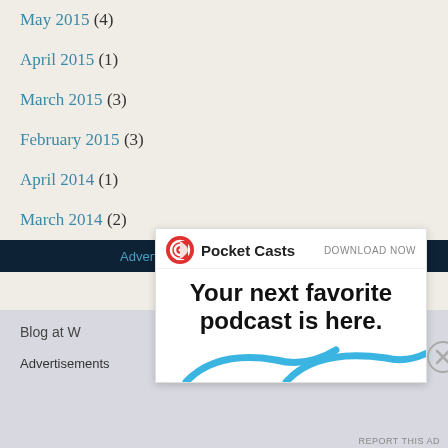May 2015 (4)
April 2015 (1)
March 2015 (3)
February 2015 (3)
April 2014 (1)
March 2014 (2)
Advertisements
[Figure (screenshot): Pocket Casts advertisement overlay with logo, 'DOWNLOAD NOW' text, and headline 'Your next favorite podcast is here.' with partial app store badge images and close button]
Blog at W
Advertisements
REPORT THIS AD